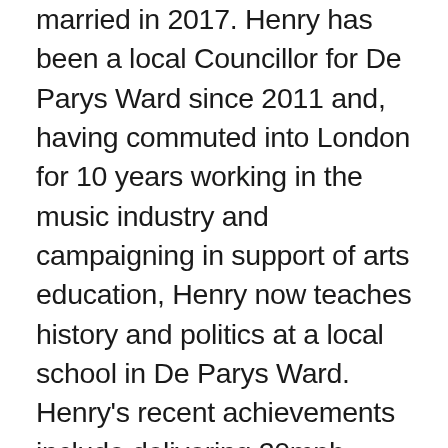married in 2017. Henry has been a local Councillor for De Parys Ward since 2011 and, having commuted into London for 10 years working in the music industry and campaigning in support of arts education, Henry now teaches history and politics at a local school in De Parys Ward. Henry's recent achievements include delivering 20mph speed limits in local residential streets, launching our local safer junctions campaign with double yellow lines on the narrowest corners, and continuing to campaign for even more streets and footpaths to be repaired. Henry has also been a local school Governor and as Cabinet Member for Education on Mayor Dave's Executive Henry has overseen a multi-million-pound investment in local schools including Castle Newnham, the Hills and Hazeldene. Henry also Chairs the Bedford Park Charity. In his spare time, Henry is a keen musician and sings in local choirs, including Cantamus and St Paul's Church Choir